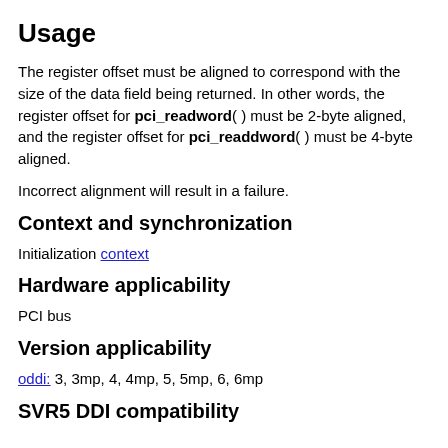Usage
The register offset must be aligned to correspond with the size of the data field being returned. In other words, the register offset for pci_readword( ) must be 2-byte aligned, and the register offset for pci_readdword( ) must be 4-byte aligned.
Incorrect alignment will result in a failure.
Context and synchronization
Initialization context
Hardware applicability
PCI bus
Version applicability
oddi: 3, 3mp, 4, 4mp, 5, 5mp, 6, 6mp
SVR5 DDI compatibility